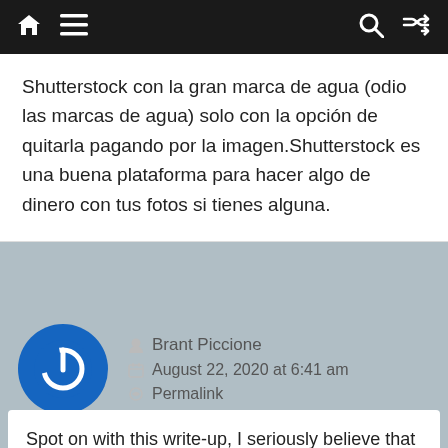Navigation bar with home icon, menu icon, search icon, shuffle icon
Shutterstock con la gran marca de agua (odio las marcas de agua) solo con la opción de quitarla pagando por la imagen.Shutterstock es una buena plataforma para hacer algo de dinero con tus fotos si tienes alguna.
Brant Piccione
August 22, 2020 at 6:41 am
Permalink
Spot on with this write-up, I seriously believe that this site needs a lot more attention. I'll probably be back again to read more, thanks for the advice!